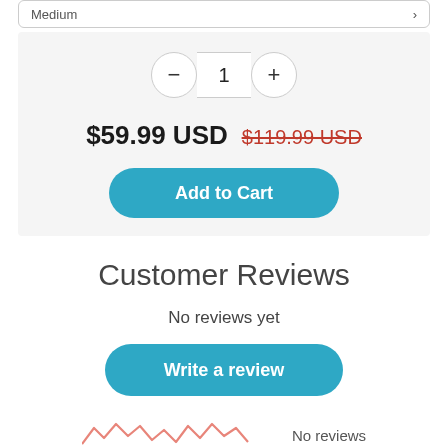Medium
1
$59.99 USD  $119.99 USD
Add to Cart
Customer Reviews
No reviews yet
Write a review
No reviews